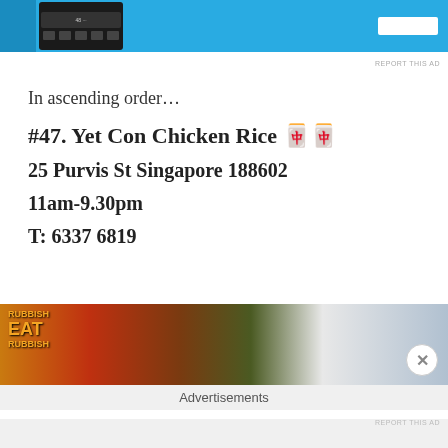[Figure (screenshot): Advertisement banner at top showing a blue background with a mobile app screenshot and a white button]
REPORT THIS AD
In ascending order…
#47. Yet Con Chicken Rice 🍚🍚
25 Purvis St Singapore 188602
11am-9.30pm
T: 6337 6819
[Figure (photo): Food advertisement image showing sauces and a bowl of rice with text overlay reading EAT]
Advertisements
REPORT THIS AD